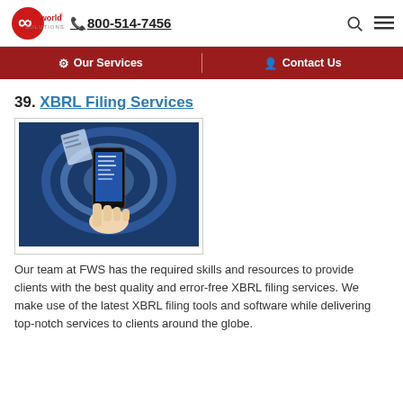flatworld solutions | 800-514-7456
Our Services | Contact Us
39. XBRL Filing Services
[Figure (photo): Hand holding a smartphone with digital documents floating above it on a blue glowing background]
Our team at FWS has the required skills and resources to provide clients with the best quality and error-free XBRL filing services. We make use of the latest XBRL filing tools and software while delivering top-notch services to clients around the globe.